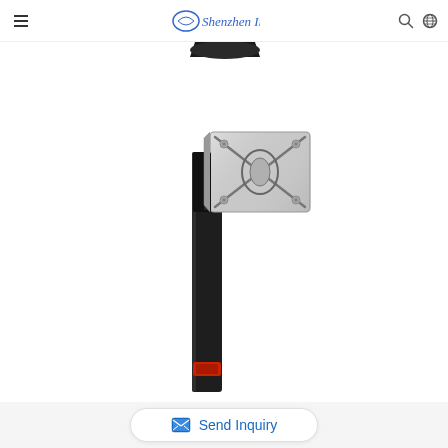Shenzhen Innoda Technology Co., Ltd
[Figure (photo): Product photo showing a monitor VESA mount bracket attached to a black monitor stand/arm. The metal mounting plate is silver/grey with an X-pattern design, attached to a tall black vertical stand column. A small red component is visible near the bottom of the stand.]
Send Inquiry